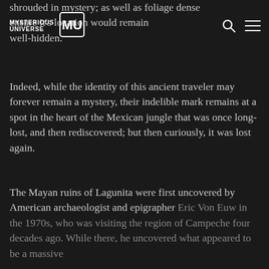MYSTERIOUS UNIVERSE [logo] [search icon] [menu icon]
shrouded in mystery; as well as foliage dense enough to ensure it's location would remain well-hidden.
Indeed, while the identity of this ancient traveler may forever remain a mystery, their indelible mark remains at a spot in the heart of the Mexican jungle that was once long-lost, and then rediscovered; but then curiously, it was lost again.
The Mayan ruins of Lagunita were first uncovered by American archaeologist and epigrapher Eric Von Euw in the 1970s, who was visiting the region of Campeche four decades ago. While there, he uncovered what appeared to be a massive